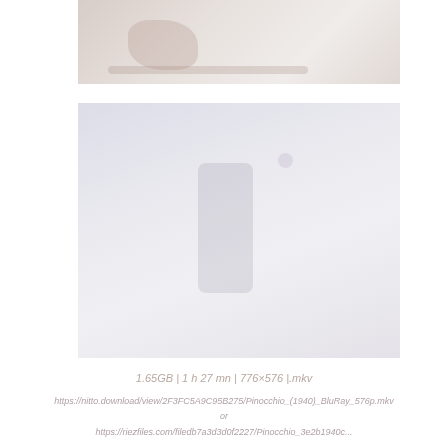[Figure (photo): Faded/washed out film still or scene image, top portion, light pinkish-gray tones]
[Figure (photo): Faded/washed out film still or scene image, larger bottom portion, light blue-gray tones with faint figure silhouette]
1.65GB | 1 h 27 mn | 776×576 |.mkv
https://nitto.download/view/2F3FC5A9C95B275/Pinocchio_(1940)_BluRay_576p.mkv
or
https://riezfiles.com/filedb7a3d3d0f2227/Pinocchio_3e2b1940c...